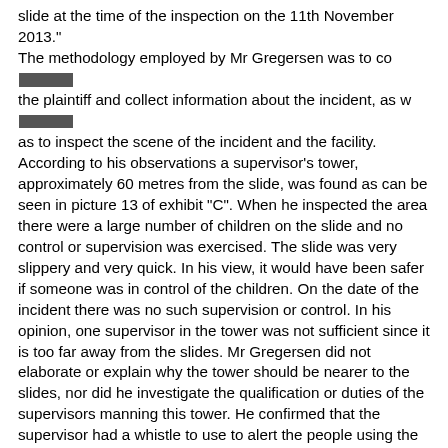slide at the time of the inspection on the 11th November 2013."
The methodology employed by Mr Gregersen was to contact the plaintiff and collect information about the incident, as well as to inspect the scene of the incident and the facility. According to his observations a supervisor's tower, approximately 60 metres from the slide, was found as can be seen in picture 13 of exhibit "C". When he inspected the area there were a large number of children on the slide and no control or supervision was exercised. The slide was very slippery and very quick. In his view, it would have been safer if someone was in control of the children. On the date of the incident there was no such supervision or control. In his opinion, one supervisor in the tower was not sufficient since it is too far away from the slides. Mr Gregersen did not elaborate or explain why the tower should be nearer to the slides, nor did he investigate the qualification or duties of the supervisors manning this tower. He confirmed that the supervisor had a whistle to use to alert the people using the pool. He did not notice any first aid sign displayed near the slides.
Under cross-examination Mr Gregersen confirmed that the structure was sound and safe and that the sides were high. He conceded that if the slide was used properly then it was a safe structure. There were two signs in place reading "No rough play" and "Kids under parental supervision" near the slides. He noticed these signs but claimed that it was not displayed at